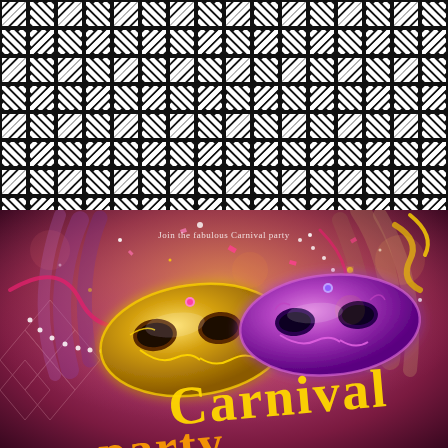[Figure (illustration): Black and white geometric diagonal stripe pattern — repeating woven/basket-weave motif made of diagonal stripes at 45-degree angles forming interlocking square grid segments on black background]
[Figure (illustration): Carnival party decorative illustration featuring two ornate masquerade masks — a gold/yellow mask on the left and a purple/violet mask on the right — surrounded by feathers, sparkles, bokeh lights, beaded necklaces, confetti, and ribbons on a warm pink-purple-orange gradient background. Text reads 'Join the fabulous Carnival party' at top and 'Carnival party' in large gold and yellow script text at the bottom.]